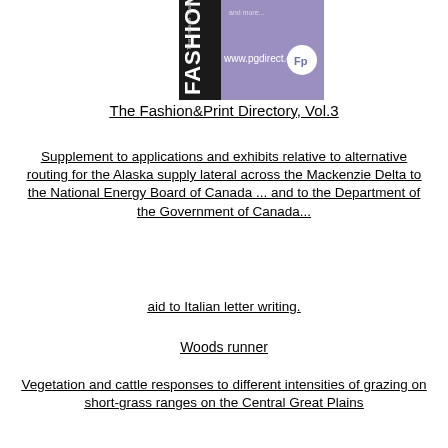[Figure (logo): Fashion&Print Directory logo with purple background, 'FASHION' text on black sidebar, 'The Image Makers' text, 'and more...', 'www.pgdirect.com' and 'Fp' circular badge]
The Fashion&Print Directory, Vol.3
Supplement to applications and exhibits relative to alternative routing for the Alaska supply lateral across the Mackenzie Delta to the National Energy Board of Canada ... and to the Department of the Government of Canada...
aid to Italian letter writing.
Woods runner
Vegetation and cattle responses to different intensities of grazing on short-grass ranges on the Central Great Plains